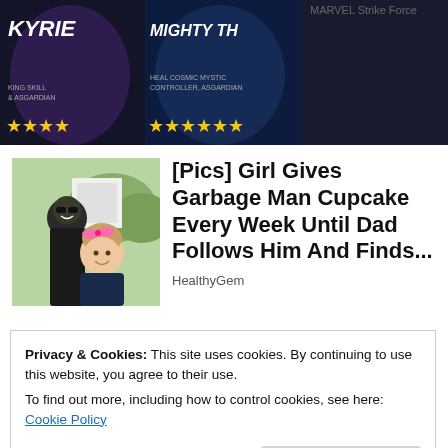[Figure (screenshot): Game advertisement showing Marvel Strike Force characters with star ratings: KYRIE and MIGHTY TH... with yellow star ratings below]
MARVEL Strike Force
[Figure (photo): Photo of a man and a young girl with a pink bow, smiling outdoors]
[Pics] Girl Gives Garbage Man Cupcake Every Week Until Dad Follows Him And Finds...
HealthyGem
Share this:
Tweet  Save  1
Privacy & Cookies: This site uses cookies. By continuing to use this website, you agree to their use.
To find out more, including how to control cookies, see here: Cookie Policy
Close and accept
February 27, 2021
In "Life hacks"
Shana
February 27, 2021